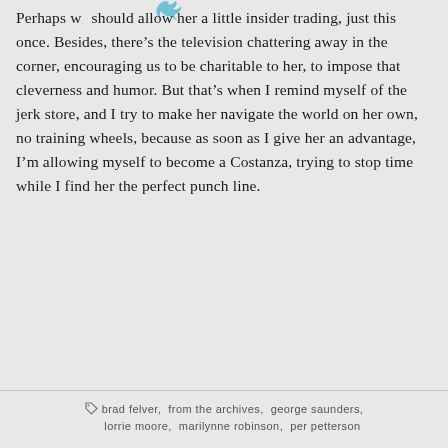Perhaps we should allow her a little insider trading, just this once. Besides, there’s the television chattering away in the corner, encouraging us to be charitable to her, to impose that cleverness and humor. But that’s when I remind myself of the jerk store, and I try to make her navigate the world on her own, no training wheels, because as soon as I give her an advantage, I’m allowing myself to become a Costanza, trying to stop time while I find her the perfect punch line.
brad felver, from the archives, george saunders, lorrie moore, marilynne robinson, per petterson